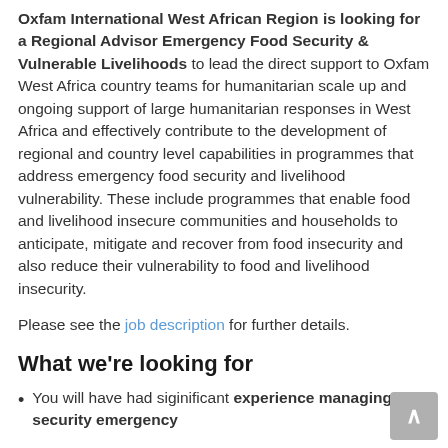Oxfam International West African Region is looking for a Regional Advisor Emergency Food Security & Vulnerable Livelihoods to lead the direct support to Oxfam West Africa country teams for humanitarian scale up and ongoing support of large humanitarian responses in West Africa and effectively contribute to the development of regional and country level capabilities in programmes that address emergency food security and livelihood vulnerability. These include programmes that enable food and livelihood insecure communities and households to anticipate, mitigate and recover from food insecurity and also reduce their vulnerability to food and livelihood insecurity.
Please see the job description for further details.
What we're looking for
You will have had siginificant experience managing food security emergency